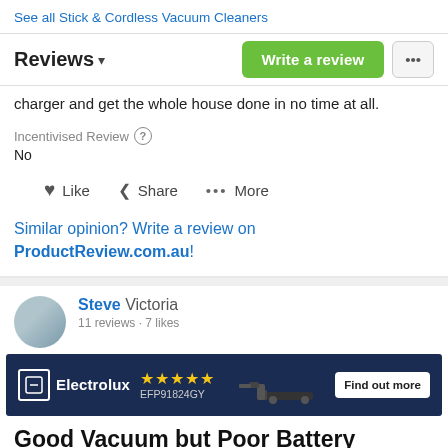‹ See all Stick & Cordless Vacuum Cleaners
Reviews ▾
charger and get the whole house done in no time at all.
Incentivised Review ?
No
♥ Like   < Share   ••• More
Similar opinion? Write a review on ProductReview.com.au!
Steve Victoria
11 reviews 7 likes
[Figure (screenshot): Electrolux advertisement banner with logo, 5 star rating, model EFP91824GY, vacuum cleaner image, and 'Find out more' button on dark navy background]
Good Vacuum but Poor Battery